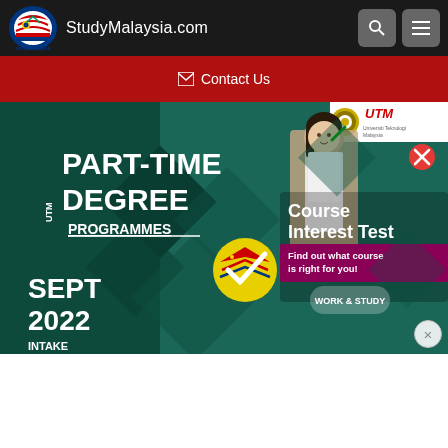StudyMalaysia.com
Contact Us
[Figure (screenshot): UTM Part-Time Degree Programmes advertisement banner. Shows 'UTM PART-TIME DEGREE PROGRAMMES' in large white text on dark teal background, with 'SEPT 2022 INTAKE' text, a Malaysian flag checkmark badge, a student photo, 'Course Interest Test - Find out what course is right for you!' overlay, and a close (X) button. UTM logo appears in top right corner.]